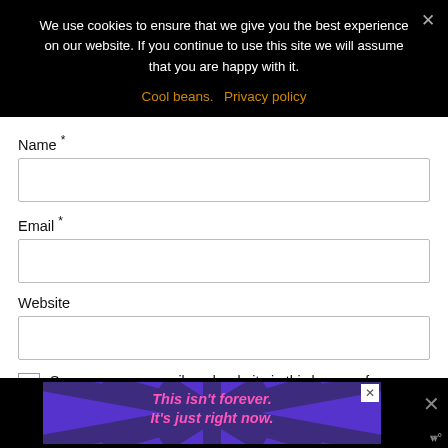We use cookies to ensure that we give you the best experience on our website. If you continue to use this site we will assume that you are happy with it.
Cool beans.  Privacy policy
Name *
Email *
Website
Save my name, email, and website in this browser for
[Figure (infographic): Purple advertisement banner at the bottom of the page with rays and italic pink text reading 'This isn't forever. It's just right now.' with a close button.]